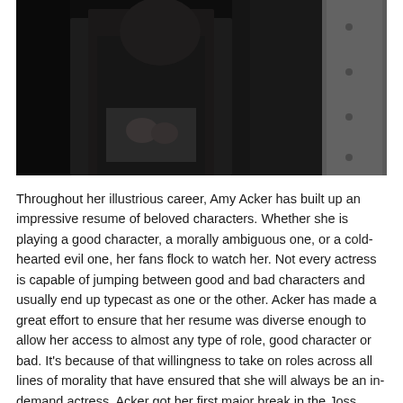[Figure (photo): A dark photograph showing a person in dark clothing, partially visible, appears to be from a TV show or movie scene. The image is cropped at the top and sides.]
Throughout her illustrious career, Amy Acker has built up an impressive resume of beloved characters. Whether she is playing a good character, a morally ambiguous one, or a cold-hearted evil one, her fans flock to watch her. Not every actress is capable of jumping between good and bad characters and usually end up typecast as one or the other. Acker has made a great effort to ensure that her resume was diverse enough to allow her access to almost any type of role, good character or bad. It's because of that willingness to take on roles across all lines of morality that have ensured that she will always be an in-demand actress. Acker got her first major break in the Joss Whedon series Angel and her career took off from there. She has dabbled around in many genres seemingly determined to not get locked down into one type of character. Though, it has been clear from the start that action based characters suit her best. She can fire guns and fend off bad guys as though she were an expert fighter. In truth, as she has revealed in more than a few interviews, she's a bit of a klutz in real life. When she's in character and in the midst of some